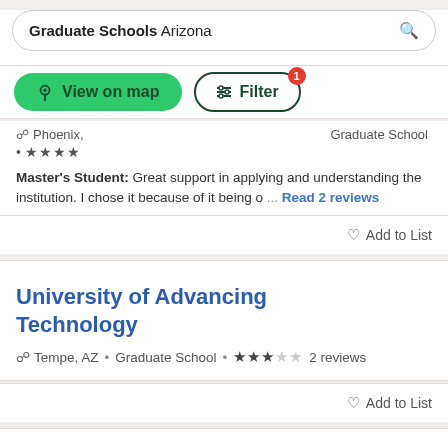Graduate Schools Arizona
[Figure (screenshot): View on map button (green) and Filter button with badge 1]
Phoenix • Graduate School
★★★★
Master's Student: Great support in applying and understanding the institution. I chose it because of it being o... Read 2 reviews
Add to List
University of Advancing Technology
Tempe, AZ • Graduate School • ★★★☆☆ 2 reviews
Add to List
University of Phoenix...